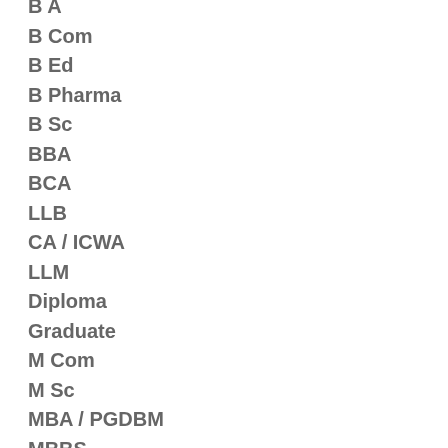B A
B Com
B Ed
B Pharma
B Sc
BBA
BCA
LLB
CA / ICWA
LLM
Diploma
Graduate
M Com
M Sc
MBA / PGDBM
MBBS
MCA
ME / M Tech
MSW
Ph D
Post Graduate